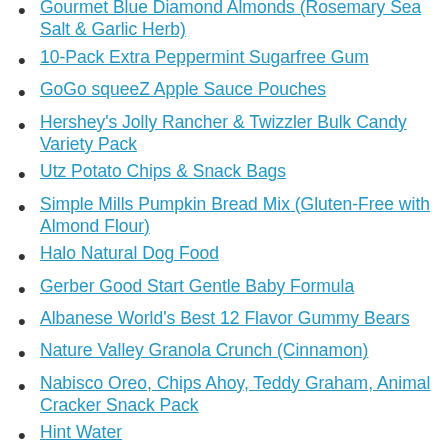Larabar Chocolate Chip Brownie
Gourmet Blue Diamond Almonds (Rosemary Sea Salt & Garlic Herb)
10-Pack Extra Peppermint Sugarfree Gum
GoGo squeeZ Apple Sauce Pouches
Hershey's Jolly Rancher & Twizzler Bulk Candy Variety Pack
Utz Potato Chips & Snack Bags
Simple Mills Pumpkin Bread Mix (Gluten-Free with Almond Flour)
Halo Natural Dog Food
Gerber Good Start Gentle Baby Formula
Albanese World's Best 12 Flavor Gummy Bears
Nature Valley Granola Crunch (Cinnamon)
Nabisco Oreo, Chips Ahoy, Teddy Graham, Animal Cracker Snack Pack
Hint Water